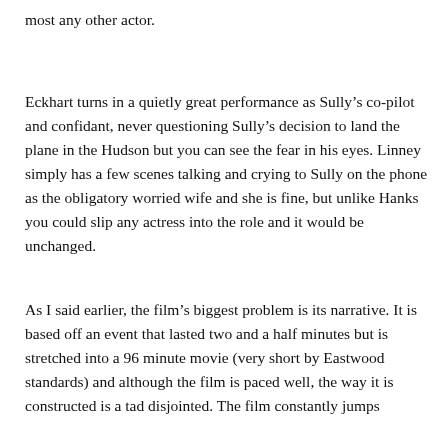most any other actor.
Eckhart turns in a quietly great performance as Sully’s co-pilot and confidant, never questioning Sully’s decision to land the plane in the Hudson but you can see the fear in his eyes. Linney simply has a few scenes talking and crying to Sully on the phone as the obligatory worried wife and she is fine, but unlike Hanks you could slip any actress into the role and it would be unchanged.
As I said earlier, the film’s biggest problem is its narrative. It is based off an event that lasted two and a half minutes but is stretched into a 96 minute movie (very short by Eastwood standards) and although the film is paced well, the way it is constructed is a tad disjointed. The film constantly jumps